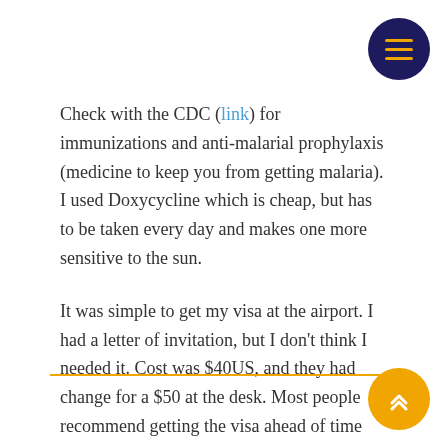Check with the CDC (link) for immunizations and anti-malarial prophylaxis (medicine to keep you from getting malaria). I used Doxycycline which is cheap, but has to be taken every day and makes one more sensitive to the sun.
It was simple to get my visa at the airport. I had a letter of invitation, but I don't think I needed it. Cost was $40US, and they had change for a $50 at the desk. Most people recommend getting the visa ahead of time via TravelDocs or a similar service — it would have saved a lot of time at the airport.